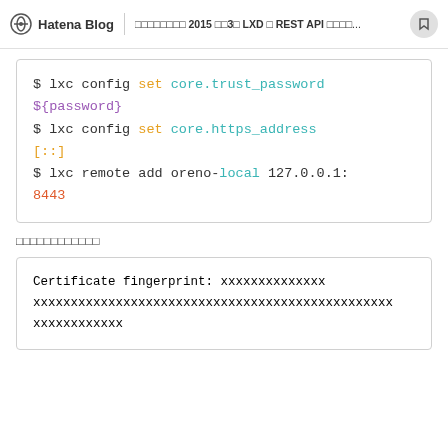Hatena Blog | xxxxxxxx 2015 xx3x LXD x REST API xxxx...
$ lxc config set core.trust_password ${password}
$ lxc config set core.https_address [::]
$ lxc remote add oreno-local 127.0.0.1:8443
xxxxxxxxxxxx
Certificate fingerprint: xxxxxxxxxxxxxx
xxxxxxxxxxxxxxxxxxxxxxxxxxxxxxxxxxxxxxxxxxxxxxxx
xxxxxxxxxxxx